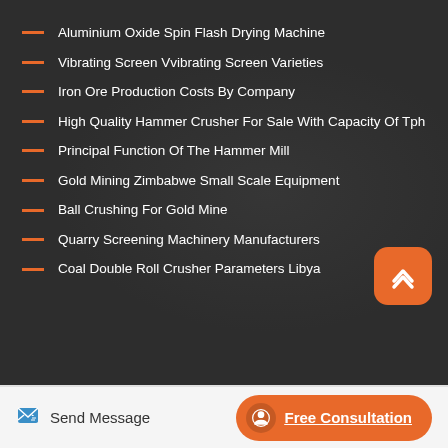Aluminium Oxide Spin Flash Drying Machine
Vibrating Screen Vvibrating Screen Varieties
Iron Ore Production Costs By Company
High Quality Hammer Crusher For Sale With Capacity Of Tph
Principal Function Of The Hammer Mill
Gold Mining Zimbabwe Small Scale Equipment
Ball Crushing For Gold Mine
Quarry Screening Machinery Manufacturers
Coal Double Roll Crusher Parameters Libya
Send Message | Free Consultation